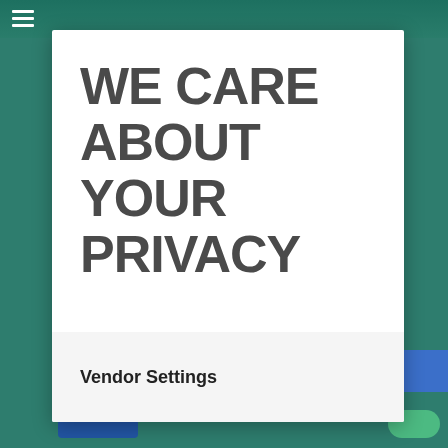[Figure (screenshot): Privacy consent modal overlay on a teal/green website background. The modal displays large bold text 'WE CARE ABOUT YOUR PRIVACY' with a 'Vendor Settings' button at the bottom.]
WE CARE ABOUT YOUR PRIVACY
Vendor Settings